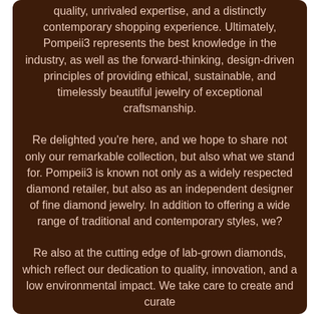quality, unrivaled expertise, and a distinctly contemporary shopping experience. Ultimately, Pompeii3 represents the best knowledge in the industry, as well as the forward-thinking, design-driven principles of providing ethical, sustainable, and timelessly beautiful jewelry of exceptional craftsmanship.
Re delighted you're here, and we hope to share not only our remarkable collection, but also what we stand for. Pompeii3 is known not only as a widely respected diamond retailer, but also as an independent designer of fine diamond jewelry. In addition to offering a wide range of traditional and contemporary styles, we?
Re also at the cutting edge of lab-grown diamonds, which reflect our dedication to quality, innovation, and a low environmental impact. We take care to create and curate